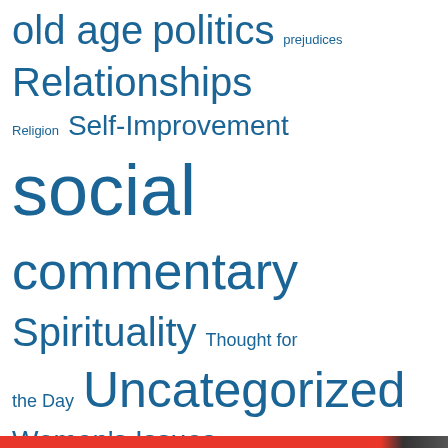old age  politics  prejudices  Relationships  Religion  Self-Improvement  social commentary  Spirituality  Thought for the Day  Uncategorized  Women's Issues  Writing
Privacy & Cookies: This site uses cookies. By continuing to use this website, you agree to their use. To find out more, including how to control cookies, see here: Cookie Policy
Close and accept